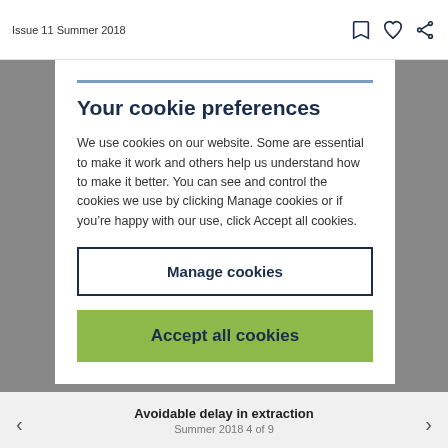Issue 11 Summer 2018
Your cookie preferences
We use cookies on our website. Some are essential to make it work and others help us understand how to make it better. You can see and control the cookies we use by clicking Manage cookies or if you’re happy with our use, click Accept all cookies.
Manage cookies
Accept all cookies
Avoidable delay in extraction
Summer 2018 4 of 9